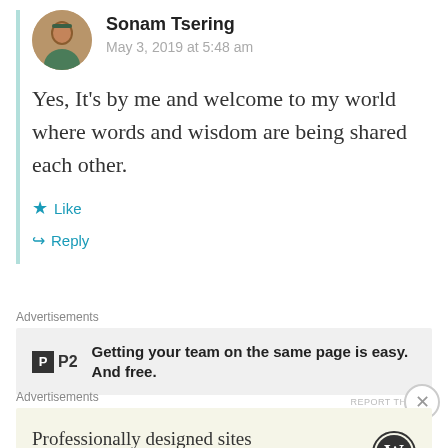Sonam Tsering
May 3, 2019 at 5:48 am
Yes, It's by me and welcome to my world where words and wisdom are being shared each other.
★ Like
↪ Reply
Advertisements
[Figure (logo): P2 logo with text: Getting your team on the same page is easy. And free.]
REPORT THIS AD
Advertisements
[Figure (logo): WordPress advertisement: Professionally designed sites in less than a week, with WordPress logo]
REPORT THIS AD